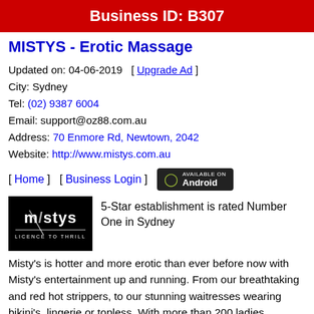Business ID: B307
MISTYS - Erotic Massage
Updated on: 04-06-2019  [ Upgrade Ad ]
City: Sydney
Tel: (02) 9387 6004
Email: support@oz88.com.au
Address: 70 Enmore Rd, Newtown, 2042
Website: http://www.mistys.com.au
[ Home ]   [ Business Login ]   [Android badge]
[Figure (logo): Mistys logo - black background with stylized 'mistys' text and 'LICENCE TO THRILL' tagline]
5-Star establishment is rated Number One in Sydney
Misty's is hotter and more erotic than ever before now with Misty's entertainment up and running. From our breathtaking and red hot strippers, to our stunning waitresses wearing bikini's, lingerie or topless. With more than 200 ladies Australia wide on our books, we are sure to have something to delight you.
Our strip shows will amaze your eyes with erotic dance